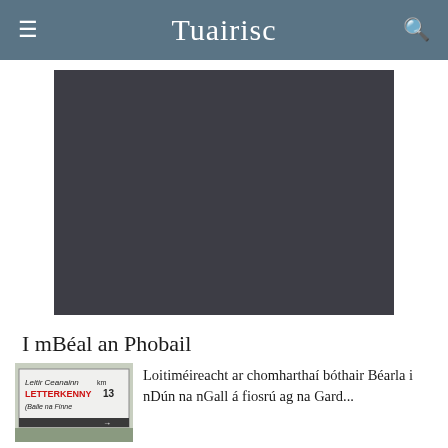Tuairisc
[Figure (photo): Large dark/black photographic image, partially visible, taking up most of the upper section of the page below the header.]
I mBéal an Phobail
[Figure (photo): Thumbnail image of an Irish/English bilingual road sign. Text visible: 'Leitir Ceanainn / LETTERKENNY 13 km' and 'Baile na Finne' with red markings.]
Loitiméireacht ar chomharthaí bóthair Béarla i nDún na nGall á fiosrú ag na Gard...